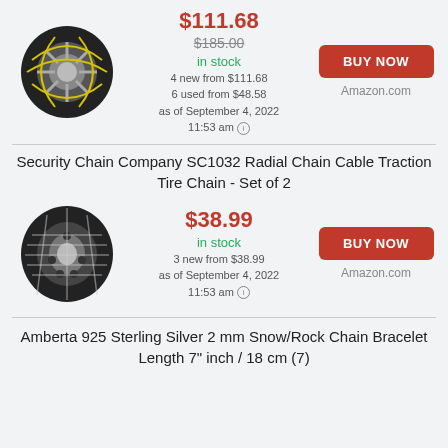[Figure (photo): Tire chain product image - first product]
$111.68 current price, $185.00 original price, in stock, 4 new from $111.68, 6 used from $48.58, as of September 4, 2022 11:53 am
BUY NOW button, Amazon.com
Security Chain Company SC1032 Radial Chain Cable Traction Tire Chain - Set of 2
[Figure (photo): Tire chain product image - second product]
$38.99 current price, in stock, 3 new from $38.99, as of September 4, 2022 11:53 am
BUY NOW button, Amazon.com
Amberta 925 Sterling Silver 2 mm Snow/Rock Chain Bracelet Length 7" inch / 18 cm (7)